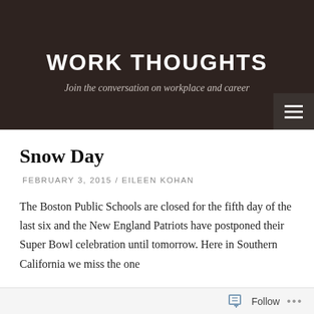WORK THOUGHTS
Join the conversation on workplace and career
Snow Day
FEBRUARY 3, 2015 / EILEEN KOHAN
The Boston Public Schools are closed for the fifth day of the last six and the New England Patriots have postponed their Super Bowl celebration until tomorrow. Here in Southern California we miss the one
Follow